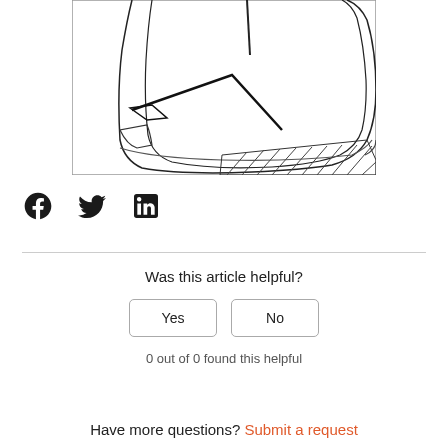[Figure (illustration): Line drawing/technical illustration of a car seat area showing seat cushion, seatbelt, and floor area with hatching indicating floor mat region]
[Figure (other): Social share icons: Facebook, Twitter, LinkedIn]
Was this article helpful?
Yes
No
0 out of 0 found this helpful
Have more questions? Submit a request